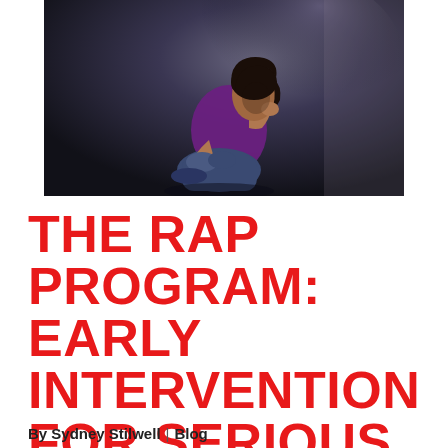[Figure (photo): A young woman sitting on the floor against a wall, wearing a purple top and jeans, holding her head in her hand in a distressed pose, dark moody lighting]
THE RAP PROGRAM: EARLY INTERVENTION FOR SERIOUS MENTAL ILLNESS
By Sydney Stilwell | Blog